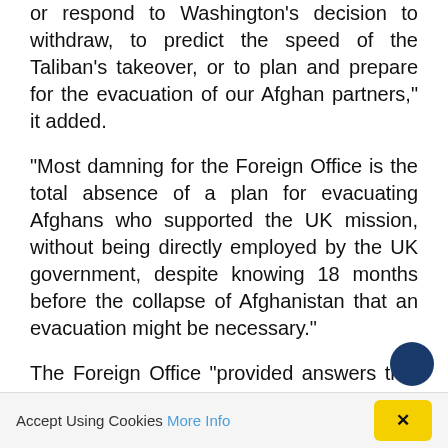or respond to Washington's decision to withdraw, to predict the speed of the Taliban's takeover, or to plan and prepare for the evacuation of our Afghan partners," it added.
"Most damning for the Foreign Office is the total absence of a plan for evacuating Afghans who supported the UK mission, without being directly employed by the UK government, despite knowing 18 months before the collapse of Afghanistan that an evacuation might be necessary."
The Foreign Office "provided answers that were intentionally evasive and often deliberately misleading" in response to inquiries from the Committee, which began work on the report in September. Instead, two whistleblowers
Accept Using Cookies More Info ×